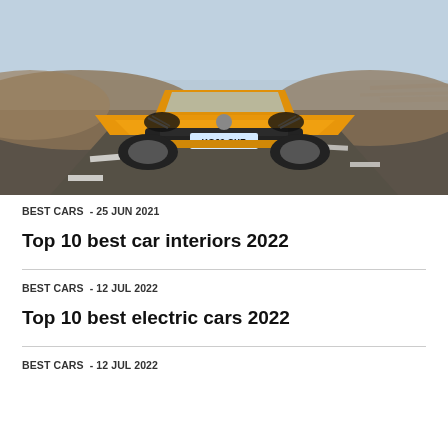[Figure (photo): Yellow/orange Peugeot e-208 (registration KO69 CXB) driving toward camera on a road with rural countryside background, motion blur effect on background.]
BEST CARS  - 25 Jun 2021
Top 10 best car interiors 2022
BEST CARS  - 12 Jul 2022
Top 10 best electric cars 2022
BEST CARS  - 12 Jul 2022